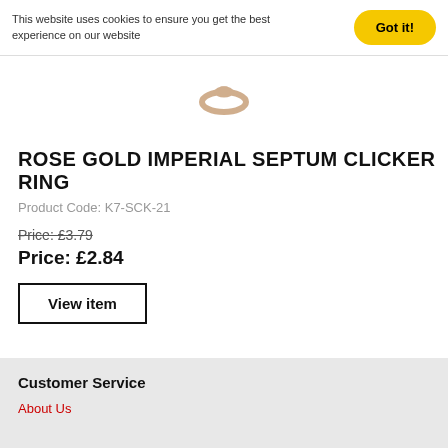This website uses cookies to ensure you get the best experience on our website
[Figure (illustration): Partial view of a rose gold septum clicker ring jewelry item against white background]
ROSE GOLD IMPERIAL SEPTUM CLICKER RING
Product Code: K7-SCK-21
Price: £3.79
Price: £2.84
View item
Customer Service
About Us